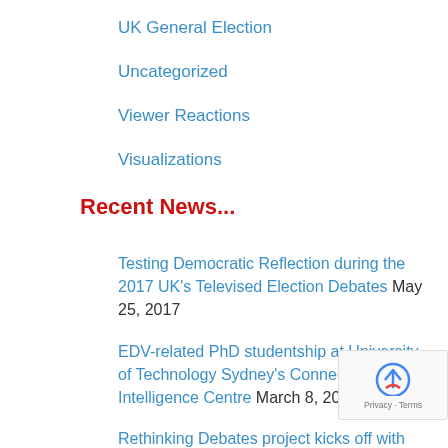UK General Election
Uncategorized
Viewer Reactions
Visualizations
Recent News...
Testing Democratic Reflection during the 2017 UK's Televised Election Debates May 25, 2017
EDV-related PhD studentship at University of Technology Sydney's Connected Intelligence Centre March 8, 2017
Rethinking Debates project kicks off with full-length feature on EDV February 12, 2016
EDV at ECA Lisbon 2015 June 15, 2015